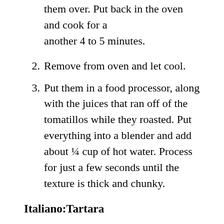them over.  Put back in the oven and cook for a another 4 to 5 minutes.
2. Remove from oven and let cool.
3. Put them in a food processor, along with the juices that ran off of the tomatillos while they roasted. Put everything into a blender and add about ¼ cup of hot water.  Process for just a few seconds until the texture is thick and chunky.
Italiano:Tartara
Se vi piace la carne cruda, provate la mia variazione della bistecca alla tartara.  La prima volte che l'ho mangiata al caffè de Paris a Via Veneto a Roma l'ho trovata disgustosa, poi ho cambiato idea e ora se